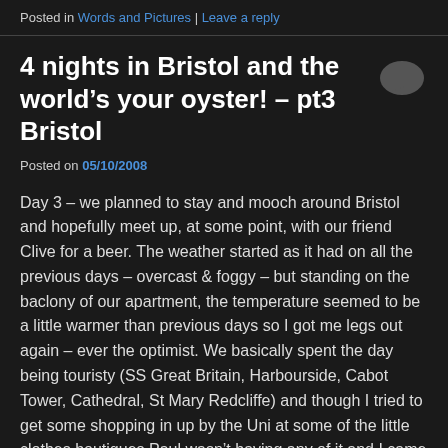Posted in Words and Pictures | Leave a reply
4 nights in Bristol and the world’s your oyster! – pt3 Bristol
Posted on 05/10/2008
Day 3 – we planned to stay and mooch around Bristol and hopefully meet up, at some point, with our friend Clive for a beer. The weather started as it had on all the previous days – overcast & foggy – but standing on the baclony of our apartment, the temperature seemed to be a little warmer than previous days so I got me legs out again – ever the optimist. We basically spent the day being touristy (SS Great Britain, Harbourside, Cabot Tower, Cathedral, St Mary Redcliffe) and though I tried to get some shopping in up by the Uni at some of the little clothes boutiques Paul wasn’t having any of it and I came